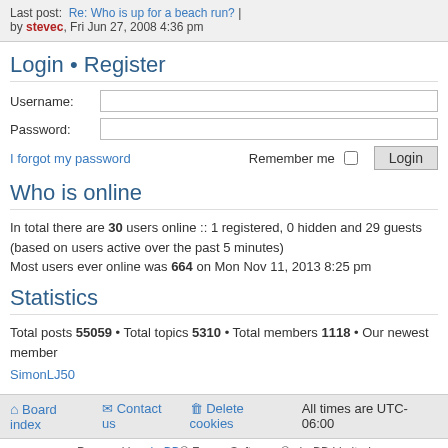Last post: Re: Who is up for a beach run? | by stevec, Fri Jun 27, 2008 4:36 pm
Login • Register
Username:
Password:
I forgot my password    Remember me  Login
Who is online
In total there are 30 users online :: 1 registered, 0 hidden and 29 guests (based on users active over the past 5 minutes)
Most users ever online was 664 on Mon Nov 11, 2013 8:25 pm
Statistics
Total posts 55059 • Total topics 5310 • Total members 1118 • Our newest member SimonLJ50
Board index   Contact us   Delete cookies   All times are UTC-06:00
Powered by phpBB® Forum Software © phpBB Limited
Style by Arty - phpBB 3.2 by MrGaby
Privacy | Terms